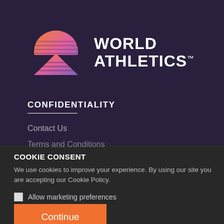[Figure (logo): World Athletics logo with colorful mountain/chevron shape in orange, pink, and purple gradients, next to bold white text reading WORLD ATHLETICS with TM mark]
CONFIDENTIALITY
Contact Us
Terms and Conditions
COOKIE CONSENT
We use cookies to improve your experience. By using our site you are accepting our Cookie Policy.
Allow marketing preferences
Continue